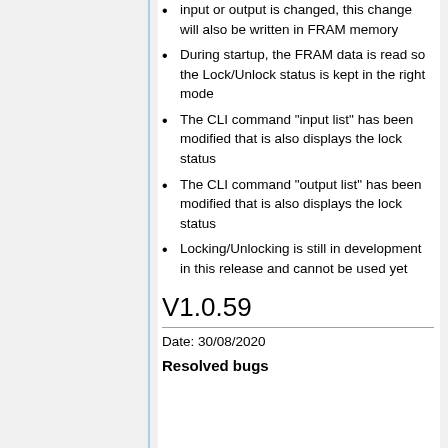input or output is changed, this change will also be written in FRAM memory
During startup, the FRAM data is read so the Lock/Unlock status is kept in the right mode
The CLI command "input list" has been modified that is also displays the lock status
The CLI command "output list" has been modified that is also displays the lock status
Locking/Unlocking is still in development in this release and cannot be used yet
V1.0.59
Date: 30/08/2020
Resolved bugs